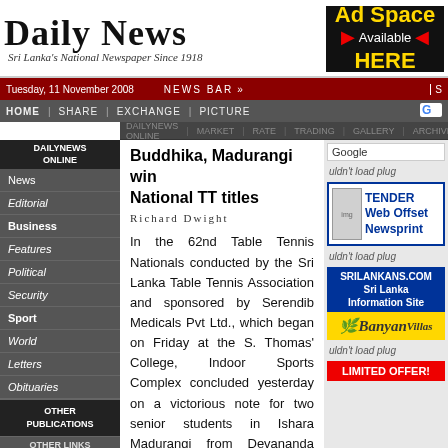Daily News — Sri Lanka's National Newspaper Since 1918
[Figure (infographic): Ad Space Available HERE banner with red arrows on black background]
Tuesday, 11 November 2008 | News Bar
HOME | SHARE | EXCHANGE | PICTURE | DAILYNEWS ONLINE | MARKET | RATE | GALLERY | ARCHIVES
Buddhika, Madurangi win National TT titles
Richard Dwight
In the 62nd Table Tennis Nationals conducted by the Sri Lanka Table Tennis Association and sponsored by Serendib Medicals Pvt Ltd., which began on Friday at the S. Thomas' College, Indoor Sports Complex concluded yesterday on a victorious note for two senior students in Ishara Madurangi from Devananda Ambalangoda and Budhika Walgampola of Royal College.
News
Editorial
Business
Features
Political
Security
Sport
World
Letters
Obituaries
OTHER PUBLICATIONS
OTHER LINKS
Marriage Proposals